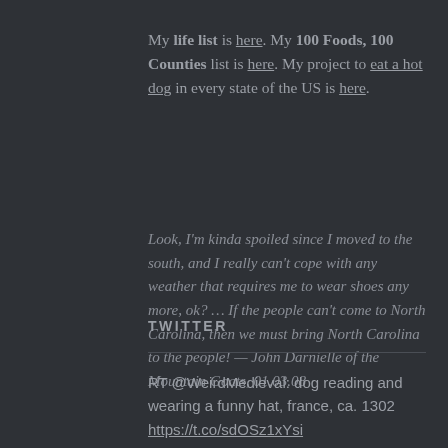My life list is here. My 100 Foods, 100 Counties list is here. My project to eat a hot dog in every state of the US is here.
Look, I'm kinda spoiled since I moved to the south, and I really can't cope with any weather that requires me to wear shoes any more, ok? … If the people can't come to North Carolina, then we must bring North Carolina to the people! — John Darnielle of the Mountain Goats, 01.03.08
TWITTER
RT @WeirdMedieval: dog reading and wearing a funny hat, france, ca. 1302 https://t.co/sdOSz1xYsi